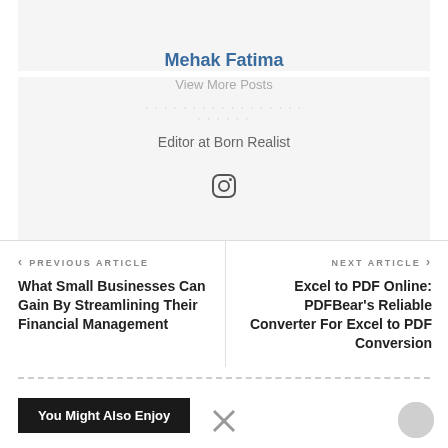Mehak Fatima
View More Posts
Editor at Born Realist
[Figure (illustration): Instagram icon (circle with rounded square and dot)]
< PREVIOUS ARTICLE
What Small Businesses Can Gain By Streamlining Their Financial Management
NEXT ARTICLE >
Excel to PDF Online: PDFBear's Reliable Converter For Excel to PDF Conversion
You Might Also Enjoy